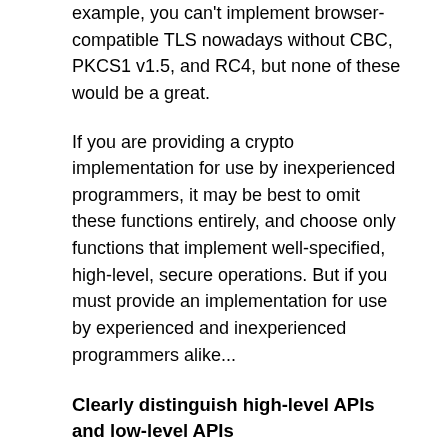example, you can't implement browser-compatible TLS nowadays without CBC, PKCS1 v1.5, and RC4, but none of these would be a great.
If you are providing a crypto implementation for use by inexperienced programmers, it may be best to omit these functions entirely, and choose only functions that implement well-specified, high-level, secure operations. But if you must provide an implementation for use by experienced and inexperienced programmers alike...
Clearly distinguish high-level APIs and low-level APIs
"Encrypt securely" should not be the same function as "encrypt incorrectly" with slightly different arguments. In languages that divide functions and types into packages or headers, safe and unsafe crypto should not occupy the same